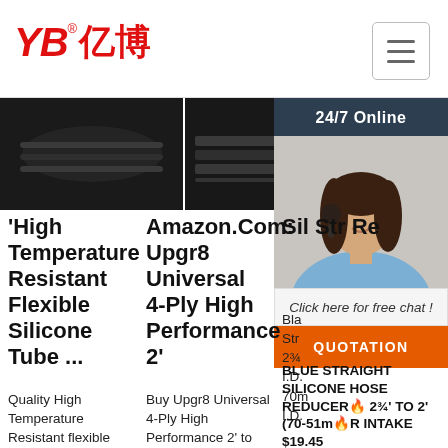YB亿博® logo and navigation
[Figure (photo): Dark silicone hose close-up images in two panels]
'High Temperature Resistant Flexible Silicone Tube ...
Quality High Temperature Resistant flexible silicone tube silicone heater hose - find quality Universal Silicone hose, Rubber Hoses & Universal Sili...
Amazon.Com: Upgr8 Universal 4-Ply High Performance 2'
Buy Upgr8 Universal 4-Ply High Performance 2' to 2.25' Straight Reducer Coupler Silicone Hose 51mm to 57mm + T Bolt Clamp (2'-2.25' Blue): Hoses &
[Figure (photo): Customer service representative with headset, 24/7 Online chat widget with QUOTATION button]
Bla... Str... 2¾ I.D. 70m I.D.
BLUE STRAIGHT SILICONE HOSE REDUCER 2¾' TO 2' (70-51mm AIR INTAKE $19.45